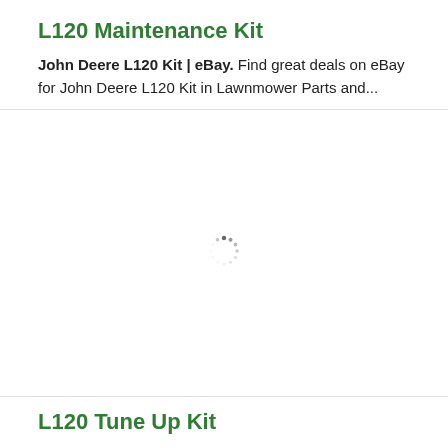L120 Maintenance Kit
John Deere L120 Kit | eBay. Find great deals on eBay for John Deere L120 Kit in Lawnmower Parts and...
[Figure (other): Loading spinner/throbber icon in the center of a white card area]
L120 Tune Up Kit